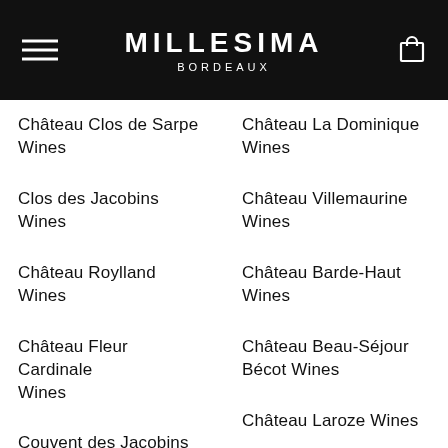MILLESIMA BORDEAUX
Château Clos de Sarpe Wines
Château La Dominique Wines
Clos des Jacobins Wines
Château Villemaurine Wines
Château Roylland Wines
Château Barde-Haut Wines
Château Fleur Cardinale Wines
Château Beau-Séjour Bécot Wines
Couvent des Jacobins Wines
Château Laroze Wines
Château Figeac Wines
Château Grand Corbin-Despagne Wines
Château Larcis Ducasse Wines
Château de Ferrand Wines